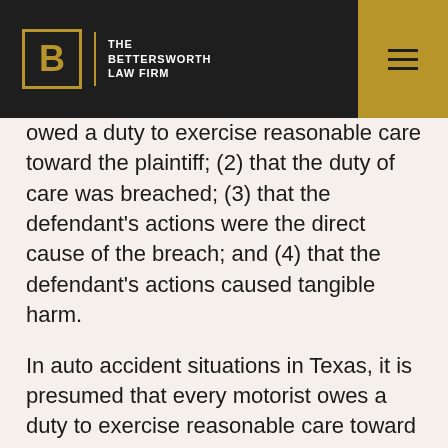THE BETTERSWORTH LAW FIRM
owed a duty to exercise reasonable care toward the plaintiff; (2) that the duty of care was breached; (3) that the defendant's actions were the direct cause of the breach; and (4) that the defendant's actions caused tangible harm.
In auto accident situations in Texas, it is presumed that every motorist owes a duty to exercise reasonable care toward every other motorist on the road, so (1) is essentially already proven. If you show that the defendant's actions were the immediate